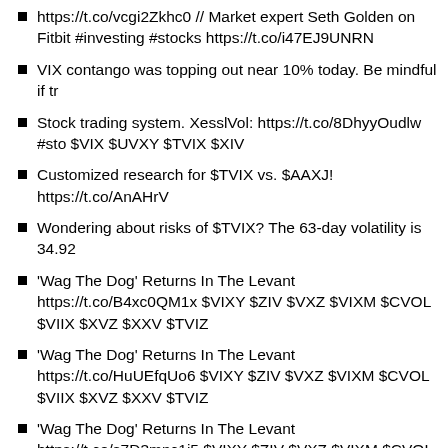https://t.co/vcgi2Zkhc0 // Market expert Seth Golden on Fitbit #investing #stocks https://t.co/i47EJ9UNRN
VIX contango was topping out near 10% today. Be mindful if tr
Stock trading system. XesslVol: https://t.co/8DhyyOudlw #sto $VIX $UVXY $TVIX $XIV
Customized research for $TVIX vs. $AAXJ! https://t.co/AnAHrV
Wondering about risks of $TVIX? The 63-day volatility is 34.92
'Wag The Dog' Returns In The Levant https://t.co/B4xc0QM1x $VIXY $ZIV $VXZ $VIXM $CVOL $VIIX $XVZ $XXV $TVIZ
'Wag The Dog' Returns In The Levant https://t.co/HuUEfqUo6 $VIXY $ZIV $VXZ $VIXM $CVOL $VIIX $XVZ $XXV $TVIZ
'Wag The Dog' Returns In The Levant https://t.co/s7D3mnc1i5 $VIXY $ZIV $VXZ $VIXM $CVOL $VIIX $XVZ $XXV $TVIZ
Wondering about risks of $TVIX? The 21-day volatility is 24.29
Derivatives Markets by Robert L. McDonald: https://t.co/MiJq $VIX $FAG $FAZ